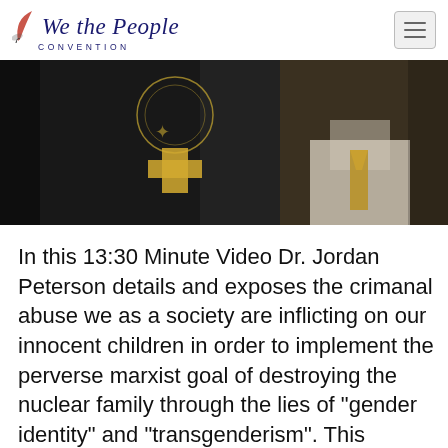We the People CONVENTION
[Figure (photo): Dark hero image showing partial figures with a gold cross/plus symbol and a decorative circular emblem overlay]
In this 13:30 Minute Video Dr. Jordan Peterson details and exposes the crimanal abuse we as a society are inflicting on our innocent children in order to implement the perverse marxist goal of destroying the nuclear family through the lies of "gender identity" and "transgenderism". This riveting and devastating attack on members of Peterson's own profession and